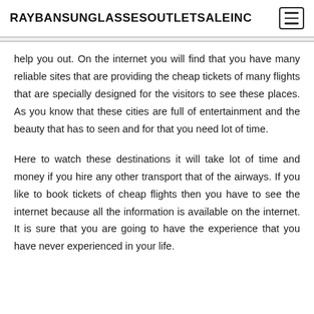RAYBANSUNGLASSESOUTLETSALEINC
help you out. On the internet you will find that you have many reliable sites that are providing the cheap tickets of many flights that are specially designed for the visitors to see these places. As you know that these cities are full of entertainment and the beauty that has to seen and for that you need lot of time.
Here to watch these destinations it will take lot of time and money if you hire any other transport that of the airways. If you like to book tickets of cheap flights then you have to see the internet because all the information is available on the internet. It is sure that you are going to have the experience that you have never experienced in your life.